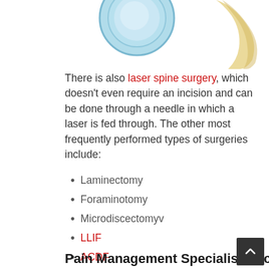[Figure (illustration): Medical illustration showing a spinal disc (blue/teal circular disc) and a vertebra bone (yellow/tan) partially visible, cropped at top of page.]
There is also laser spine surgery, which doesn't even require an incision and can be done through a needle in which a laser is fed through. The other most frequently performed types of surgeries include:
Laminectomy
Foraminotomy
Microdiscectomyv
LLIF
ACDF
Lumbar Fusion
Pain Management Specialist Doctors